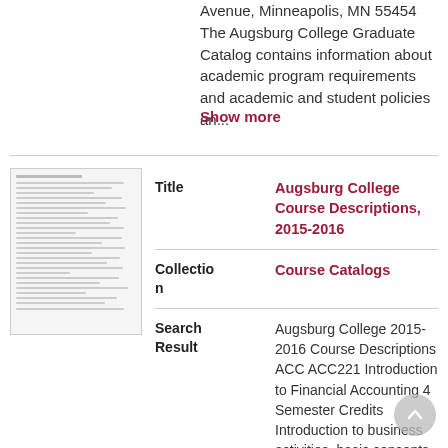Avenue, Minneapolis, MN 55454 The Augsburg College Graduate Catalog contains information about academic program requirements and academic and student policies an...
Show more
[Figure (thumbnail): Thumbnail image of a document page with text lines]
| Field | Value |
| --- | --- |
| Title | Augsburg College Course Descriptions, 2015-2016 |
| Collection | Course Catalogs |
| Search Result | Augsburg College 2015-2016 Course Descriptions ACC ACC221 Introduction to Financial Accounting 4 Semester Credits Introduction to business activities, basic concepts and fundamentals of accounting, the accounting cycle, and preparation of financial statements. |